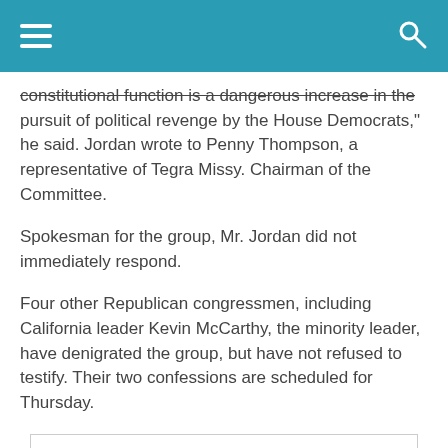Navigation header with hamburger menu and search icon
constitutional function is a dangerous increase in the pursuit of political revenge by the House Democrats," he said. Jordan wrote to Penny Thompson, a representative of Tegra Missy. Chairman of the Committee.
Spokesman for the group, Mr. Jordan did not immediately respond.
Four other Republican congressmen, including California leader Kevin McCarthy, the minority leader, have denigrated the group, but have not refused to testify. Their two confessions are scheduled for Thursday.
[Figure (photo): Placeholder person silhouette image inside a white card/box]